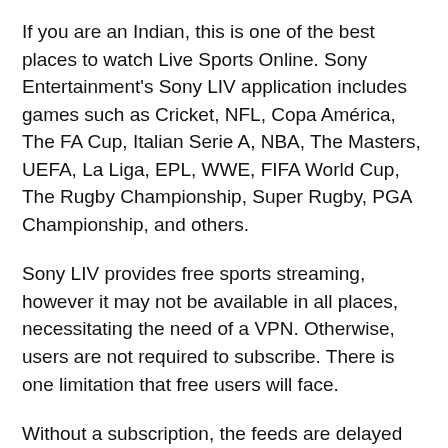If you are an Indian, this is one of the best places to watch Live Sports Online. Sony Entertainment's Sony LIV application includes games such as Cricket, NFL, Copa América, The FA Cup, Italian Serie A, NBA, The Masters, UEFA, La Liga, EPL, WWE, FIFA World Cup, The Rugby Championship, Super Rugby, PGA Championship, and others.
Sony LIV provides free sports streaming, however it may not be available in all places, necessitating the need of a VPN. Otherwise, users are not required to subscribe. There is one limitation that free users will face.
Without a subscription, the feeds are delayed by 5 minutes. However, in my opinion, this will not make a significant difference. But if it does, I recommend that you purchase a subscription or switch to another free sports streaming website.